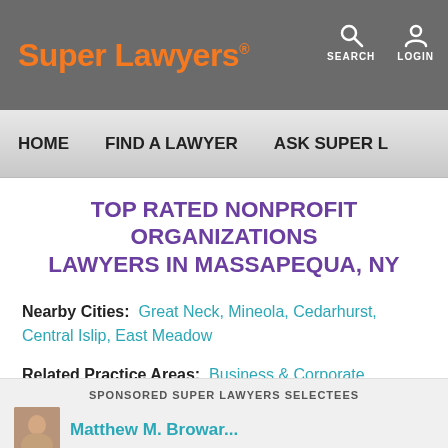Super Lawyers · SEARCH LOGIN
HOME   FIND A LAWYER   ASK SUPER L
TOP RATED NONPROFIT ORGANIZATIONS LAWYERS IN MASSAPEQUA, NY
Nearby Cities:  Great Neck, Mineola, Cedarhurst, Central Islip, East Meadow
Related Practice Areas:  Business & Corporate, Business Organizations, General Litigation, Government Relations, Legislative & Governmental Affairs
SPONSORED SUPER LAWYERS SELECTEES